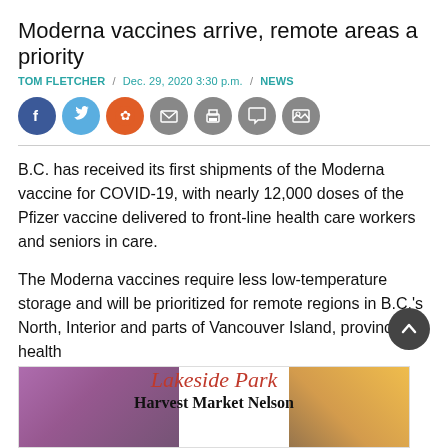Moderna vaccines arrive, remote areas a priority
TOM FLETCHER / Dec. 29, 2020 3:30 p.m. / NEWS
[Figure (other): Social media share icons: Facebook, Twitter, Reddit, Email, Print, Comment, Image]
B.C. has received its first shipments of the Moderna vaccine for COVID-19, with nearly 12,000 doses of the Pfizer vaccine delivered to front-line health care workers and seniors in care.
The Moderna vaccines require less low-temperature storage and will be prioritized for remote regions in B.C.'s North, Interior and parts of Vancouver Island, provincial health
[Figure (other): Advertisement banner: Lakeside Park Harvest Market Nelson]